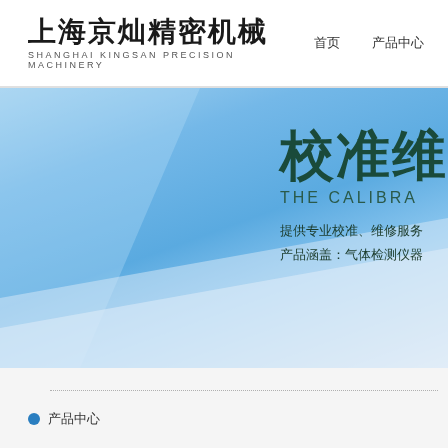上海京灿精密机械 SHANGHAI KINGSAN PRECISION MACHINERY
[Figure (illustration): Website banner with blue gradient background featuring diagonal geometric shapes. Contains large Chinese heading '校准维' and English subtitle 'THE CALIBRA', with descriptive text '提供专业校准、维修服务' and '产品涵盖：气体检测仪器'.]
提供专业校准、维修服务 产品涵盖：气体检测仪器